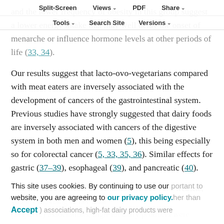Split-Screen | Views | PDF | Share | Tools | Search Site | Versions
and the lower frequency of obesity in this group suggest a lower energy intake that may well delay the onset of menarche or influence hormone levels at other periods of life (33, 34).
Our results suggest that lacto-ovo-vegetarians compared with meat eaters are inversely associated with the development of cancers of the gastrointestinal system. Previous studies have strongly suggested that dairy foods are inversely associated with cancers of the digestive system in both men and women (5), this being especially so for colorectal cancer (5, 33, 35, 36). Similar effects for gastric (37–39), esophageal (39), and pancreatic (40).
This site uses cookies. By continuing to use our website, you are agreeing to our privacy policy. Accept